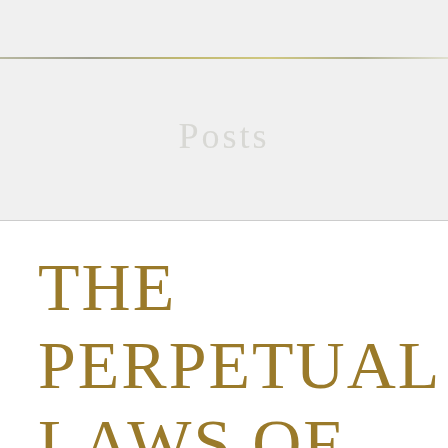[Figure (illustration): Light gray banner background with a subtle decorative horizontal line near the top and the word 'Posts' centered in light gray serif text.]
THE PERPETUAL LAWS OF